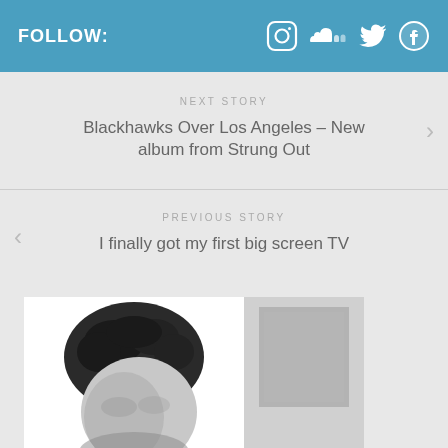FOLLOW:
NEXT STORY
Blackhawks Over Los Angeles – New album from Strung Out
PREVIOUS STORY
I finally got my first big screen TV
[Figure (photo): Black and white photo of a person with curly hair, partially visible, cropped at the bottom of the page. A picture frame or artwork visible in the upper right portion of the photo.]